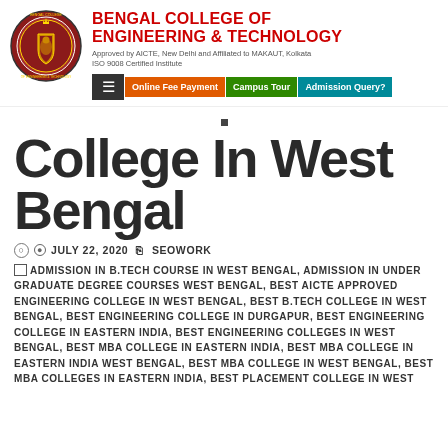[Figure (logo): Bengal College of Engineering & Technology circular logo/crest]
BENGAL COLLEGE OF ENGINEERING & TECHNOLOGY — Approved by AICTE, New Delhi and Affiliated to MAKAUT, Kolkata. ISO 9008 Certified Institute. Navigation: Online Fee Payment | Campus Tour | Admission Query?
College In West Bengal
JULY 22, 2020   SEOWORK
ADMISSION IN B.TECH COURSE IN WEST BENGAL, ADMISSION IN UNDER GRADUATE DEGREE COURSES WEST BENGAL, BEST AICTE APPROVED ENGINEERING COLLEGE IN WEST BENGAL, BEST B.TECH COLLEGE IN WEST BENGAL, BEST ENGINEERING COLLEGE IN DURGAPUR, BEST ENGINEERING COLLEGE IN EASTERN INDIA, BEST ENGINEERING COLLEGES IN WEST BENGAL, BEST MBA COLLEGE IN EASTERN INDIA, BEST MBA COLLEGE IN EASTERN INDIA WEST BENGAL, BEST MBA COLLEGE IN WEST BENGAL, BEST MBA COLLEGES IN EASTERN INDIA, BEST PLACEMENT COLLEGE IN WEST